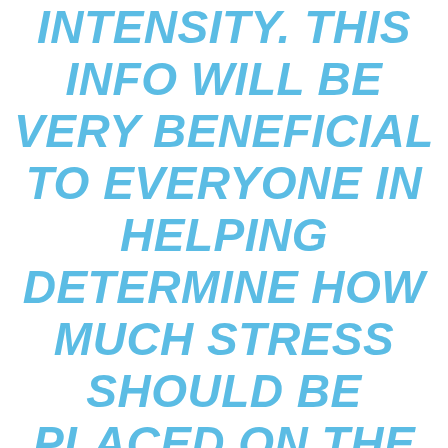INTENSITY. THIS INFO WILL BE VERY BENEFICIAL TO EVERYONE IN HELPING DETERMINE HOW MUCH STRESS SHOULD BE PLACED ON THE BODY FOR THE BEST POSSIBLE RESULTS.